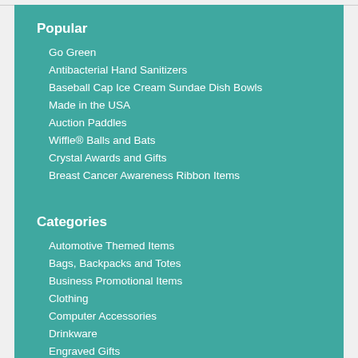Popular
Go Green
Antibacterial Hand Sanitizers
Baseball Cap Ice Cream Sundae Dish Bowls
Made in the USA
Auction Paddles
Wiffle® Balls and Bats
Crystal Awards and Gifts
Breast Cancer Awareness Ribbon Items
Categories
Automotive Themed Items
Bags, Backpacks and Totes
Business Promotional Items
Clothing
Computer Accessories
Drinkware
Engraved Gifts
Engraved Plaques and Awards